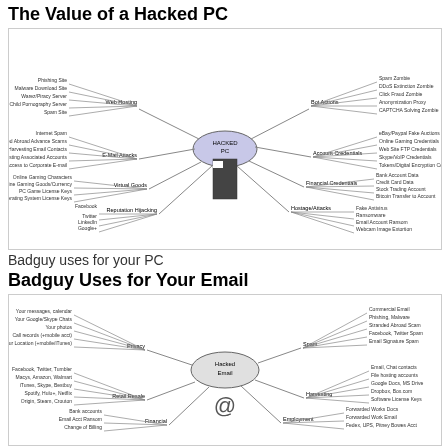The Value of a Hacked PC
[Figure (infographic): Mind map diagram showing uses of a hacked PC. Center node labeled 'HACKED PC' with branches: Web Hosting (Phishing Site, Malware Download Site, Warez/Piracy Server, Child Pornography Server, Spam Site), Bot Actions (Spam Zombie, DDoS Extinction Zombie, Click Fraud Zombie, Anonymization Proxy, CAPTCHA Solving Zombie), E-Mail Attacks (Internet Spam, Stranded Abroad Advance Scams, Harvesting Email Contacts, Harvesting Associated Accounts, Access to Corporate Email), Account Credentials (eBay/Paypal Fake Auctions, Online Gaming Credentials, Web Site FTP Credentials, Skype/VoIP Credentials, Tokens/Digital Encryption Certificates), Virtual Goods (Online Gaming Characters, Online Gaming Goods/Currency, PC Game License Keys, Operating System License Keys), Financial Credentials (Bank Account Data, Credit Card Data, Stock Trading Account, Bitcoin Transfer to Account), Reputation Hijacking (Facebook, Twitter, LinkedIn, Google+), Hostage/Attacks (Fake Antivirus, Ransomware, Email Account Ransom, Webcam Image Extortion)]
Badguy uses for your PC
Badguy Uses for Your Email
[Figure (infographic): Mind map diagram showing uses of a hacked email. Center node labeled 'Hacked Email' with branches: Privacy (Your messages/calendar, Your Google/Skype Chats, Your photos, Call records (+mobile acct), Your Location (+mobile/iTunes)), Spam (Commercial Email, Phishing/Malware, Stranded Abroad Scam, Facebook/Twitter Spam, Email Signature Spam), Retail Resale (Facebook/Twitter/Tumbler, Macys/Amazon/Walmart, iTunes/Skype/Bestbuy, Spotify/Hulu+/Netflix, Origin/Steam/Crouton), Harvesting (Email/Chat contacts, File hosting accounts, Google Docs/MS Drive, Dropbox/Box.com, Software License Keys), Financial (Bank accounts, Email Acct Ransom, Change of Billing), Employment (Forwarded Works Docs, Forwarded Work Email, Fedex/UPS/Pitney Bowes Acct)]